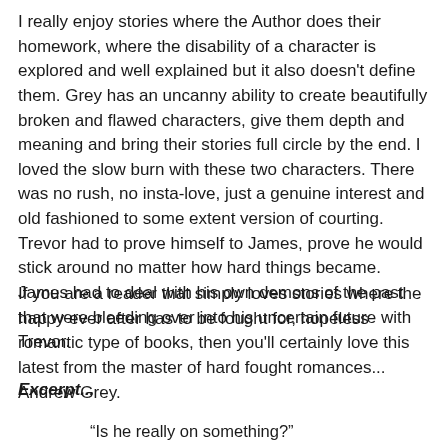I really enjoy stories where the Author does their homework, where the disability of a character is explored and well explained but it also doesn't define them. Grey has an uncanny ability to create beautifully broken and flawed characters, give them depth and meaning and bring their stories full circle by the end. I loved the slow burn with these two characters. There was no rush, no insta-love, just a genuine interest and old fashioned to some extent version of courting. Trevor had to prove himself to James, prove he would stick around no matter how hard things became. James had to deal with his own demons of the past that were bleeding over into his uncertain future with Trevor.
If you are a reader that simply loves stories where the happy ever after has to be fought for, hopeless romantic type of books, then you'll certainly love this latest from the master of hard fought romances... Andrew Grey.
Excerpt...
“Is he really on something?”